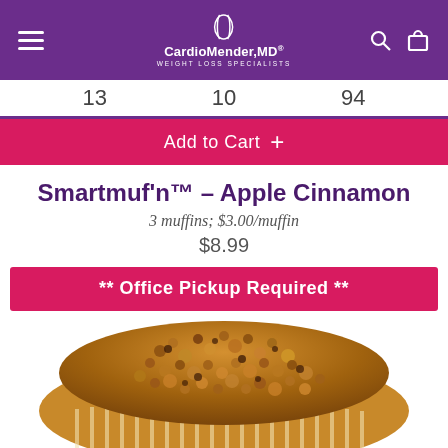CardioMender,MD® WEIGHT LOSS SPECIALISTS
13   10   94
Add to Cart +
Smartmuf'n™ – Apple Cinnamon
3 muffins; $3.00/muffin
$8.99
** Office Pickup Required **
[Figure (photo): Apple cinnamon muffin with crumble topping in a paper wrapper, viewed from above and slightly to the side.]